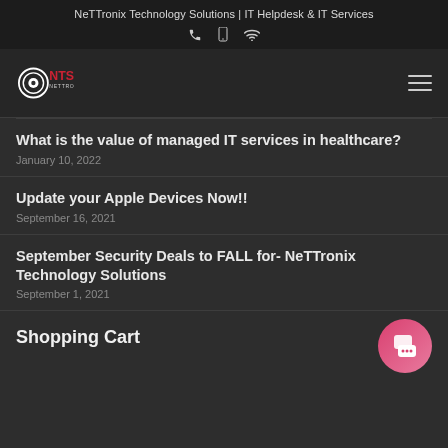NeTTronix Technology Solutions | IT Helpdesk & IT Services
[Figure (logo): NTS NeTTronix logo with circular eye icon in white and red text]
What is the value of managed IT services in healthcare?
January 10, 2022
Update your Apple Devices Now!!
September 16, 2021
September Security Deals to FALL for- NeTTronix Technology Solutions
September 1, 2021
Shopping Cart